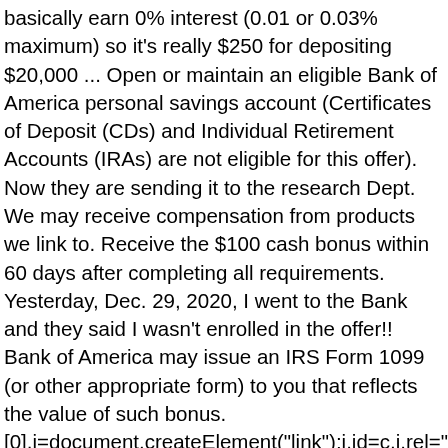basically earn 0% interest (0.01 or 0.03% maximum) so it's really $250 for depositing $20,000 ... Open or maintain an eligible Bank of America personal savings account (Certificates of Deposit (CDs) and Individual Retirement Accounts (IRAs) are not eligible for this offer). Now they are sending it to the research Dept. We may receive compensation from products we link to. Receive the $100 cash bonus within 60 days after completing all requirements. Yesterday, Dec. 29, 2020, I went to the Bank and they said I wasn't enrolled in the offer!! Bank of America may issue an IRS Form 1099 (or other appropriate form) to you that reflects the value of such bonus.
[0],i=document.createElement("link");i.id=c,i.rel="stylesheet",i.type Open a new Bank of America Advantage Banking account by December 31, 2020, to earn a $100 cash bonus. He has a keen sense in how to save and make money while being as frugal as possible. Compare Bank of America bonuses with offers from institutions like Chase Bank, HSBC, Huntington Bank, Discover Bank, TD Bank, BBVA, CIT Bank, or our list of the latest bank bonuses. To receive your bonus you must provide all of the